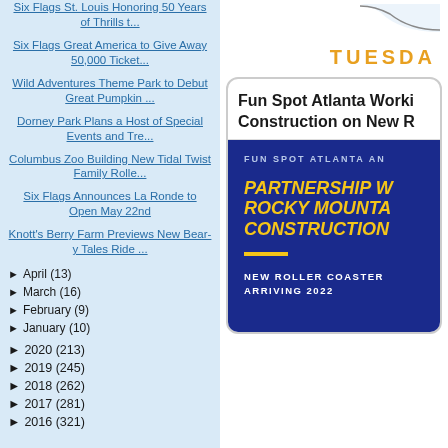Six Flags St. Louis Honoring 50 Years of Thrills t...
Six Flags Great America to Give Away 50,000 Ticket...
Wild Adventures Theme Park to Debut Great Pumpkin ...
Dorney Park Plans a Host of Special Events and Tre...
Columbus Zoo Building New Tidal Twist Family Rolle...
Six Flags Announces La Ronde to Open May 22nd
Knott's Berry Farm Previews New Bear-y Tales Ride ...
► April (13)
► March (16)
► February (9)
► January (10)
► 2020 (213)
► 2019 (245)
► 2018 (262)
► 2017 (281)
► 2016 (321)
TUESDAY
Fun Spot Atlanta Working on Construction on New R
[Figure (infographic): Blue promotional card for Fun Spot Atlanta announcing a partnership with Rocky Mountain Construction for a new roller coaster arriving 2022.]